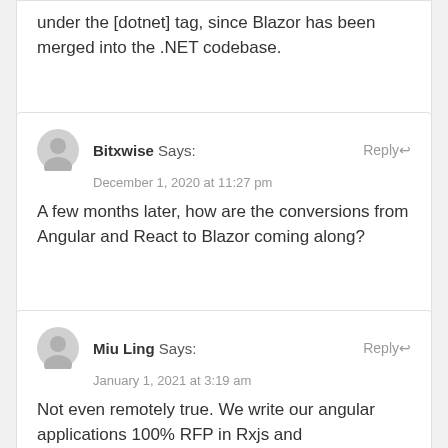under the [dotnet] tag, since Blazor has been merged into the .NET codebase.
Bitxwise Says: December 1, 2020 at 11:27 pm
A few months later, how are the conversions from Angular and React to Blazor coming along?
Miu Ling Says: January 1, 2021 at 3:19 am
Not even remotely true. We write our angular applications 100% RFP in Rxjs and